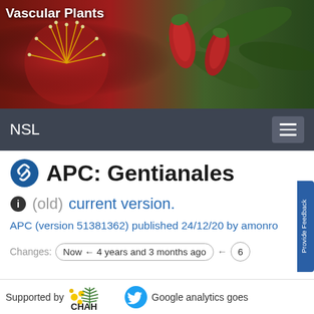[Figure (photo): Banner photo of red vascular plant flowers and green leaves]
Vascular Plants
NSL
APC: Gentianales
(old)  current version.
APC (version 51381362) published 24/12/20 by amonro
Changes:  Now ← 4 years and 3 months ago  ←  6
Supported by  CHAH  Google analytics goes